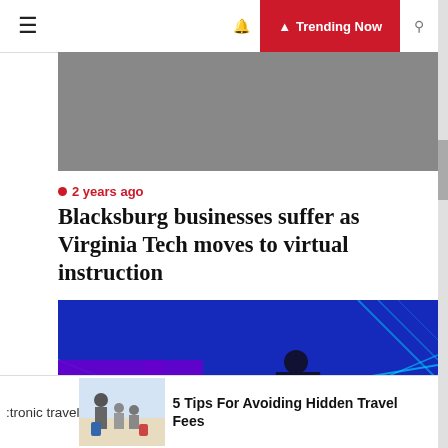≡  Trending Now
[Figure (photo): Gray banner image area at top of article]
🕐 2 years ago
Blacksburg businesses suffer as Virginia Tech moves to virtual instruction
[Figure (photo): Blue-lit stage scene with a figure in a long coat and a purple logo on the left, bright blue lighting and neon lines]
etronic travel
[Figure (photo): Thumbnail of family with luggage at an airport]
5 Tips For Avoiding Hidden Travel Fees